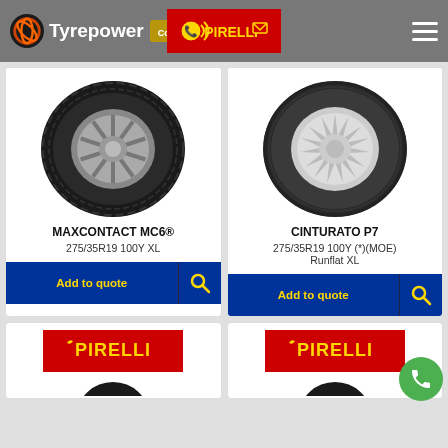[Figure (logo): Tyrepower logo with orange swirl icon and Continental logo in gray header bar]
[Figure (logo): Pirelli logo in red rectangle in header, with phone and email icons]
[Figure (photo): Continental MaxContact MC6 black performance tyre on silver alloy wheel]
MAXCONTACT MC6®
275/35R19 100Y XL
[Figure (photo): Pirelli Cinturato P7 grey tyre on silver alloy wheel]
CINTURATO P7
275/35R19 100Y (*)(MOE) Runflat XL
[Figure (logo): Pirelli brand logo in yellow text on red background]
[Figure (logo): Pirelli brand logo in yellow text on red background (second instance)]